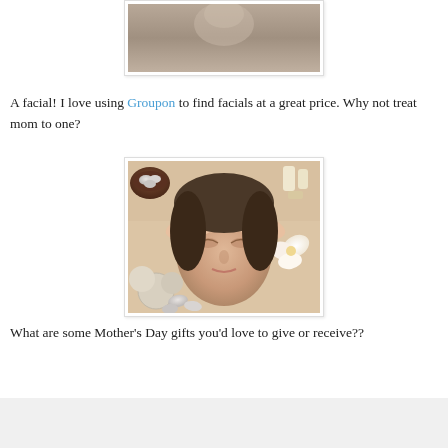[Figure (photo): Partial photo of spa/massage context, cropped at top, showing beige/tan tones]
A facial! I love using Groupon to find facials at a great price. Why not treat mom to one?
[Figure (photo): Photo of a woman lying down receiving a facial massage at a spa, with spa stones and herb compress balls visible]
What are some Mother's Day gifts you'd love to give or receive??